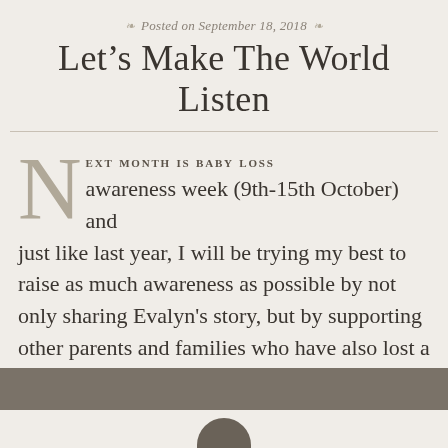Posted on September 18, 2018
Let’s Make The World Listen
NEXT MONTH IS BABY LOSS awareness week (9th-15th October) and just like last year, I will be trying my best to raise as much awareness as possible by not only sharing Evalyn's story, but by supporting other parents and families who have also lost a little one. I have also been lucky to have…